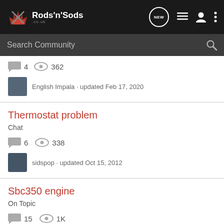Rods 'n' Sods - forum header with search bar
4  362
English Impala · updated Feb 17, 2020
Thermostat problem
Chat
6  338
sidspop · updated Oct 15, 2012
Sbc350 engine
On Topic
15  1K
Yoshi · updated Oct 1, 2014